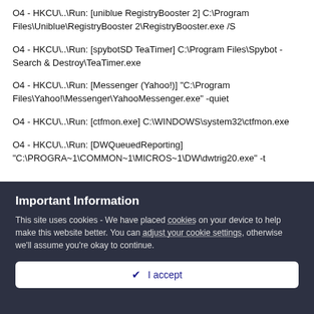O4 - HKCU\..\ Run: [uniblue RegistryBooster 2] C:\Program Files\Uniblue\RegistryBooster 2\RegistryBooster.exe /S
O4 - HKCU\..\ Run: [spybotSD TeaTimer] C:\Program Files\Spybot - Search & Destroy\TeaTimer.exe
O4 - HKCU\..\ Run: [Messenger (Yahoo!)] "C:\Program Files\Yahoo!\Messenger\YahooMessenger.exe" -quiet
O4 - HKCU\..\ Run: [ctfmon.exe] C:\WINDOWS\system32\ctfmon.exe
O4 - HKCU\..\ Run: [DWQueuedReporting] "C:\PROGRA~1\COMMON~1\MICROS~1\DW\dwtrig20.exe" -t
Important Information
This site uses cookies - We have placed cookies on your device to help make this website better. You can adjust your cookie settings, otherwise we'll assume you're okay to continue.
✔ I accept